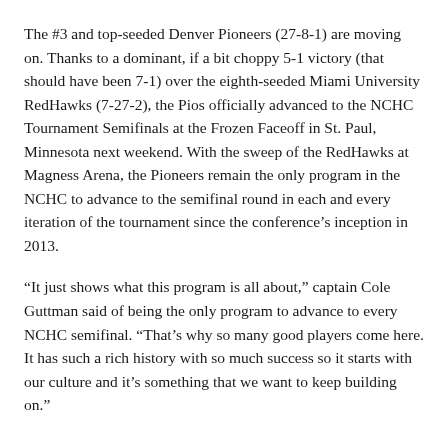The #3 and top-seeded Denver Pioneers (27-8-1) are moving on. Thanks to a dominant, if a bit choppy 5-1 victory (that should have been 7-1) over the eighth-seeded Miami University RedHawks (7-27-2), the Pios officially advanced to the NCHC Tournament Semifinals at the Frozen Faceoff in St. Paul, Minnesota next weekend. With the sweep of the RedHawks at Magness Arena, the Pioneers remain the only program in the NCHC to advance to the semifinal round in each and every iteration of the tournament since the conference's inception in 2013.
“It just shows what this program is all about,” captain Cole Guttman said of being the only program to advance to every NCHC semifinal. “That’s why so many good players come here. It has such a rich history with so much success so it starts with our culture and it’s something that we want to keep building on.”